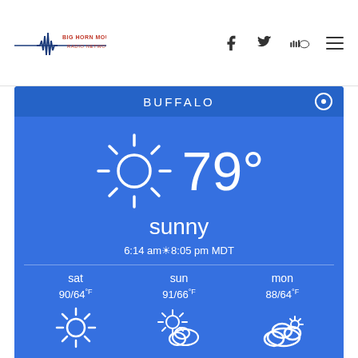[Figure (logo): Big Horn Mountain Radio Network logo with waveform graphic and text]
[Figure (infographic): Weather widget for Buffalo showing current temperature 79°F sunny, sunrise 6:14am sunset 8:05pm MDT, and 3-day forecast: sat 90/64°F sunny, sun 91/66°F partly cloudy, mon 88/64°F cloudy]
Weather forecast Buffalo, Wyoming ▶
Why Radio Matters